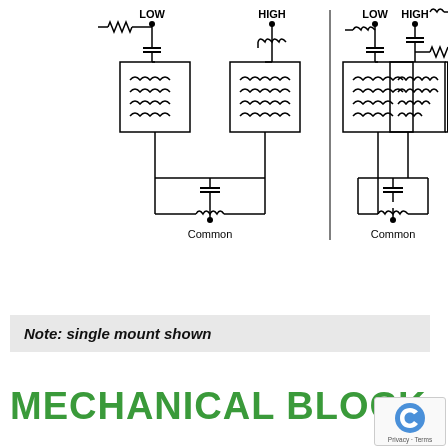[Figure (engineering-diagram): Electronic circuit schematic showing two diplex filter circuits side by side, each with LOW and HIGH input terminals at top with capacitors and inductors, feeding into transformer/coil symbol boxes, with a Common terminal at the bottom connected through a capacitor and inductor. A partial third circuit is visible at the right edge.]
Note: single mount shown
MECHANICAL BLOCK